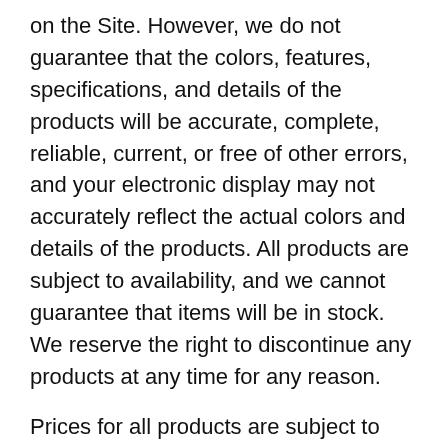on the Site. However, we do not guarantee that the colors, features, specifications, and details of the products will be accurate, complete, reliable, current, or free of other errors, and your electronic display may not accurately reflect the actual colors and details of the products. All products are subject to availability, and we cannot guarantee that items will be in stock. We reserve the right to discontinue any products at any time for any reason.
Prices for all products are subject to change.PURCHASES AND PAYMENT We accept the following forms of payment: VISA, Mastercard and other major cards as well as bank transfer.
You agree to provide current, complete, and accurate